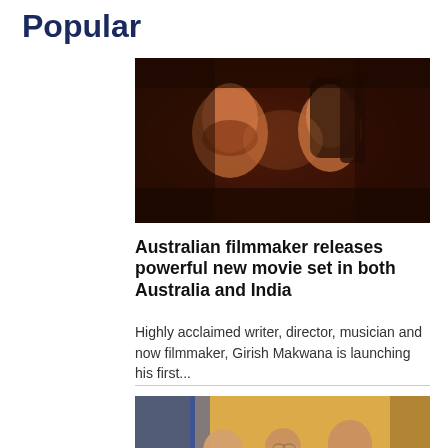Popular
[Figure (photo): Two people facing each other closely in a dark, warm-toned romantic scene from a film.]
Australian filmmaker releases powerful new movie set in both Australia and India
Highly acclaimed writer, director, musician and now filmmaker, Girish Makwana is launching his first...
[Figure (photo): Three people doing an elbow bump greeting at an official event with flags in the background.]
We have 16 new Closing the Gap targets. Will governments now...